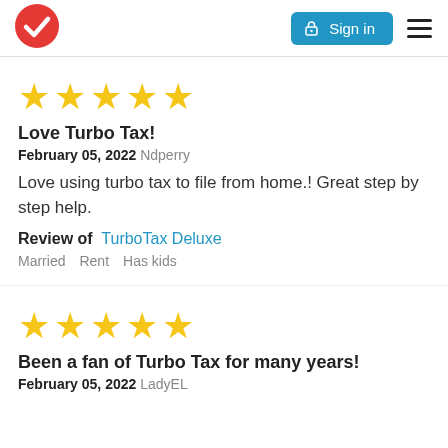Sign in
[Figure (other): Five gold stars rating]
Love Turbo Tax!
February 05, 2022 Ndperry
Love using turbo tax to file from home.! Great step by step help.
Review of TurboTax Deluxe
Married  Rent  Has kids
[Figure (other): Five gold stars rating]
Been a fan of Turbo Tax for many years!
February 05, 2022 LadyEL